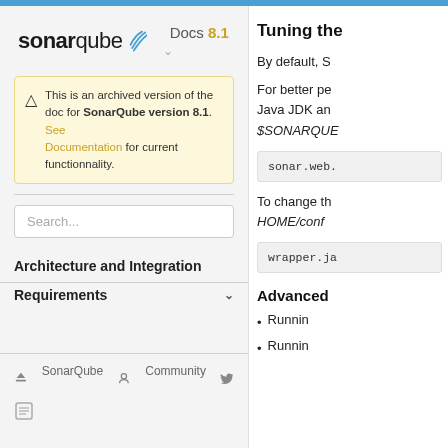[Figure (logo): SonarQube logo with wave graphics and Docs 8.1 version label]
This is an archived version of the doc for SonarQube version 8.1. See Documentation for current functionnality.
Search...
Architecture and Integration
Requirements
SonarQube  Community  (Twitter icon)
Tuning the
By default, S
For better pe Java JDK an $SONARQUE
sonar.web.
To change th HOME/conf
wrapper.ja
Advanced
Runnin
Runnin